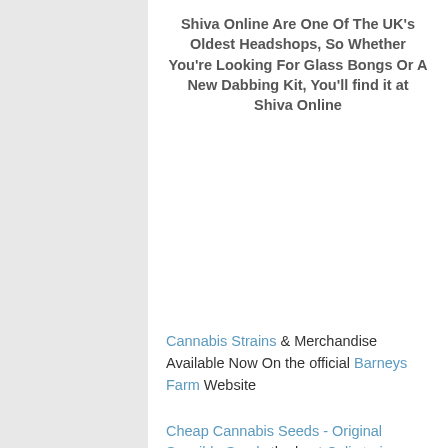Shiva Online Are One Of The UK's Oldest Headshops, So Whether You're Looking For Glass Bongs Or A New Dabbing Kit, You'll find it at Shiva Online
Cannabis Strains & Merchandise Available Now On the official Barneys Farm Website
Cheap Cannabis Seeds - Original Sensible Seeds the best Cali strains. Autoflowering, Feminized & Bulk Cannabis Seeds